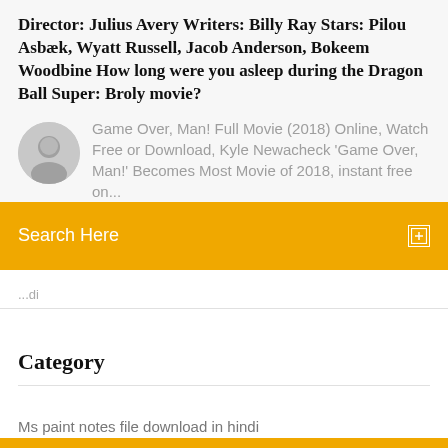Director: Julius Avery Writers: Billy Ray Stars: Pilou Asbæk, Wyatt Russell, Jacob Anderson, Bokeem Woodbine How long were you asleep during the Dragon Ball Super: Broly movie?
Game Over, Man! Full Movie (2018) Online, Watch Free or Download, Kyle Newacheck 'Game Over, Man!' Becomes Most Movie of 2018, instant free on...
Search Here
Category
Ms paint notes file download in hindi
Nexus mods manual download not working